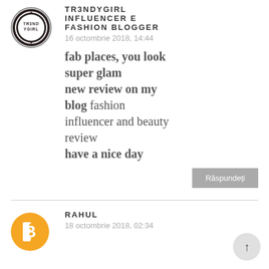[Figure (logo): Trendy Girl circular logo badge with dark border]
TR3NDYGIRL INFLUENCER E FASHION BLOGGER
16 octombrie 2018, 14:44
fab places, you look super glam new review on my blog fashion influencer and beauty review have a nice day
Răspundeți
[Figure (logo): Blogger orange circle logo with white B icon]
RAHUL
18 octombrie 2018, 02:34